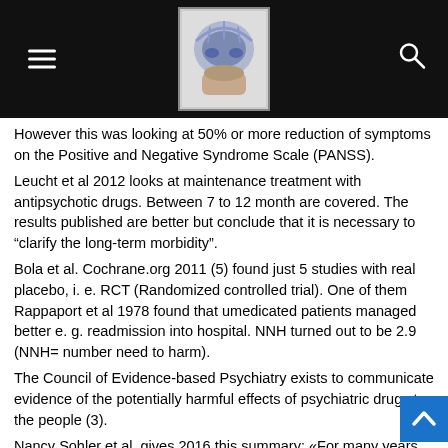[Navigation header with logo, hamburger menu, and search icon]
However this was looking at 50% or more reduction of symptoms on the Positive and Negative Syndrome Scale (PANSS).
Leucht et al 2012 looks at maintenance treatment with antipsychotic drugs. Between 7 to 12 month are covered. The results published are better but conclude that it is necessary to “clarify the long-term morbidity”.
Bola et al. Cochrane.org 2011 (5) found just 5 studies with real placebo, i. e. RCT (Randomized controlled trial). One of them Rappaport et al 1978 found that umedicated patients managed better e. g. readmission into hospital. NNH turned out to be 2.9 (NNH= number need to harm).
The Council of Evidence-based Psychiatry exists to communicate evidence of the potentially harmful effects of psychiatric drugs to the people (3).
Nancy Sohler et al. gives 2016 this summary: «For many years, this (...)clinicians’ belief in the need for long-term use of antipsychotic medications strong (Lehmann, 1966) that it has been impossible to